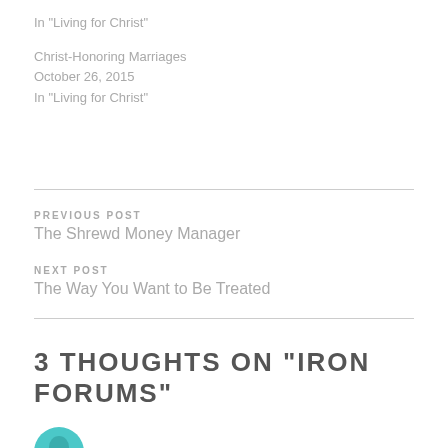In "Living for Christ"
Christ-Honoring Marriages
October 26, 2015
In "Living for Christ"
PREVIOUS POST
The Shrewd Money Manager
NEXT POST
The Way You Want to Be Treated
3 THOUGHTS ON “IRON FORUMS”
[Figure (illustration): Partial view of a teal/cyan colored avatar or user icon at the bottom of the page]